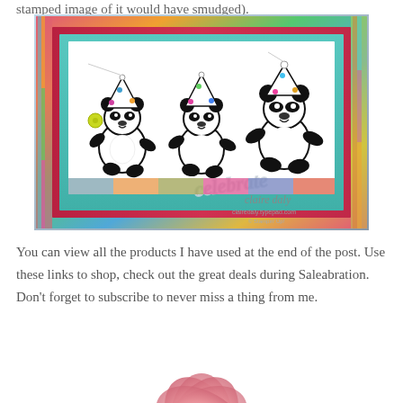stamped image of it would have smudged).
[Figure (photo): A handmade greeting card featuring three cartoon pandas wearing party hats, dancing on a white card background. The card is layered with colorful patterned paper borders in teal, pink, red, and multicolor. A glittery 'celebrate' die-cut word sits in the lower right of the card. Yellow button embellishments are also visible. Watermark reads 'claire daly / clairedaly.typepad.com / © Stampin Up!']
You can view all the products I have used at the end of the post. Use these links to shop, check out the great deals during Saleabration. Don't forget to subscribe to never miss a thing from me.
[Figure (photo): Partial view of a pink flower, visible at the bottom of the page, partially cropped.]